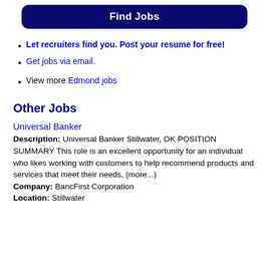Find Jobs
Let recruiters find you. Post your resume for free!
Get jobs via email.
View more Edmond jobs
Other Jobs
Universal Banker
Description: Universal Banker Stillwater, OK POSITION SUMMARY This role is an excellent opportunity for an individual who likes working with customers to help recommend products and services that meet their needs, (more...) Company: BancFirst Corporation Location: Stillwater